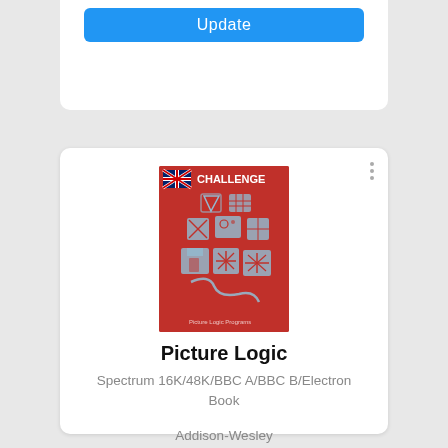[Figure (screenshot): Blue Update button at top of a UI card]
[Figure (illustration): Book cover for Picture Logic — red cover with geometric logic puzzle icons and a Union Jack flag, labeled CHALLENGE]
Picture Logic
Spectrum 16K/48K/BBC A/BBC B/Electron
Book
Addison-Wesley